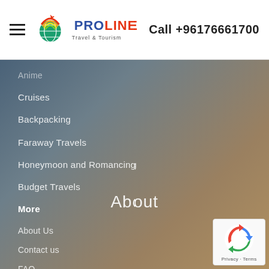PROLINE Travel & Tourism — Call +96176661700
Anime
Cruises
Backpacking
Faraway Travels
Honeymoon and Romancing
Budget Travels
More
About
About Us
Contact us
FAQ
Privacy Policy
Terms & Conditions
[Figure (logo): reCAPTCHA badge with Privacy and Terms links]